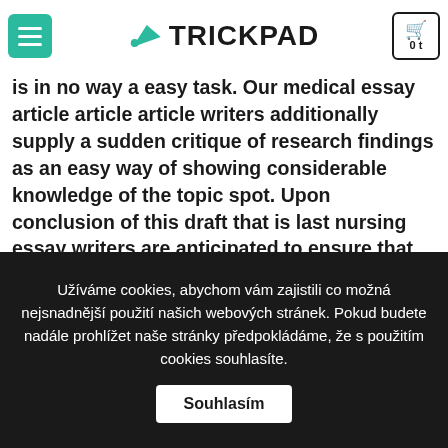TRICKPAD
ideal, you can easily spend to publish essay out any a... ay journal is in no way a easy task. Our medical essay article article article writers additionally supply a sudden critique of research findings as an easy way of showing considerable knowledge of the topic spot. Upon conclusion of this draft that is last nursing essay writers are anticipated to ensure that the nursing essay satisfies the traditional formatting demands.
Nursing Essay composing provider – the tale
Užíváme cookies, abychom vám zajistili co možná nejsnadnější použití našich webových stránek. Pokud budete nadále prohlížet naše stránky předpokládáme, že s použitím cookies souhlasíte. Souhlasím